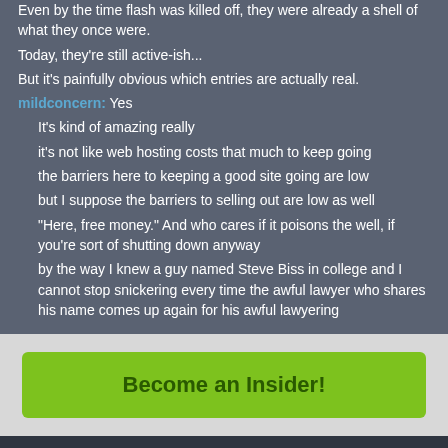Even by the time flash was killed off, they were already a shell of what they once were.
Today, they're still active-ish...
But it's painfully obvious which entries are actually real.
mildconcern: Yes
It's kind of amazing really
it's not like web hosting costs that much to keep going
the barriers here to keeping a good site going are low
but I suppose the barriers to selling out are low as well
"Here, free money." And who cares if it poisons the well, if you're sort of shutting down anyway
by the way I knew a guy named Steve Biss in college and I cannot stop snickering every time the awful lawyer who shares his name comes up again for his awful lawyering
Become an Insider!
This site, like most other sites on the web, uses cookies. For more information, see our privacy policy
GOT IT